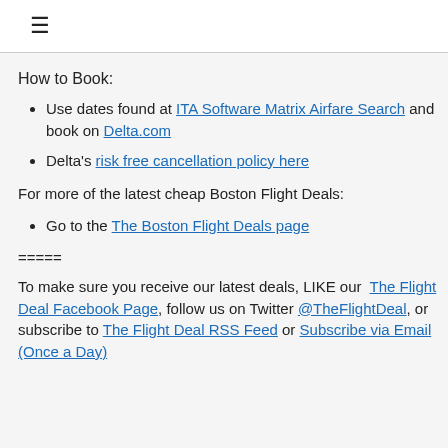≡
How to Book:
Use dates found at ITA Software Matrix Airfare Search and book on Delta.com
Delta's risk free cancellation policy here
For more of the latest cheap Boston Flight Deals:
Go to the The Boston Flight Deals page
=====
To make sure you receive our latest deals, LIKE our The Flight Deal Facebook Page, follow us on Twitter @TheFlightDeal, or subscribe to The Flight Deal RSS Feed or Subscribe via Email (Once a Day)